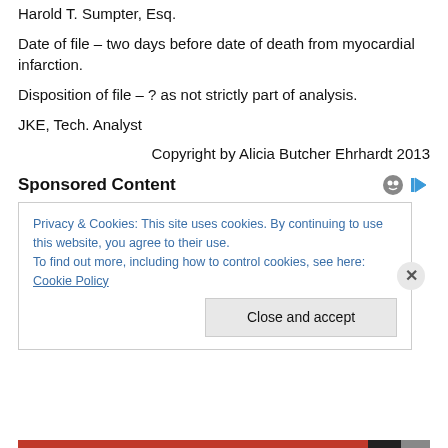Harold T. Sumpter, Esq.
Date of file – two days before date of death from myocardial infarction.
Disposition of file – ? as not strictly part of analysis.
JKE, Tech. Analyst
Copyright by Alicia Butcher Ehrhardt 2013
Sponsored Content
Privacy & Cookies: This site uses cookies. By continuing to use this website, you agree to their use.
To find out more, including how to control cookies, see here: Cookie Policy